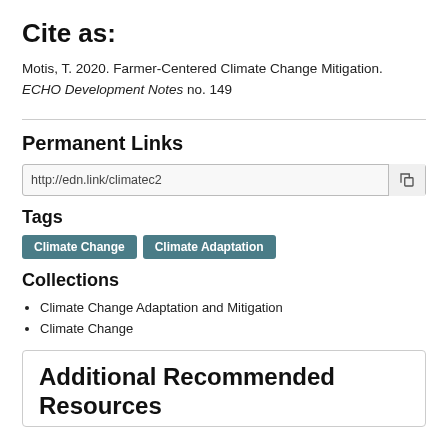Cite as:
Motis, T. 2020. Farmer-Centered Climate Change Mitigation. ECHO Development Notes no. 149
Permanent Links
http://edn.link/climatec2
Tags
Climate Change | Climate Adaptation
Collections
Climate Change Adaptation and Mitigation
Climate Change
Additional Recommended Resources